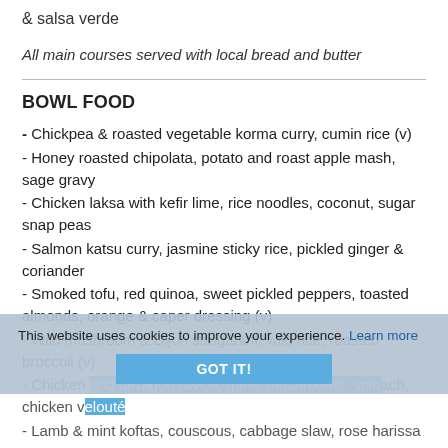& salsa verde
All main courses served with local bread and butter
BOWL FOOD
- Chickpea & roasted vegetable korma curry, cumin rice (v)
- Honey roasted chipolata, potato and roast apple mash, sage gravy
- Chicken laksa with kefir lime, rice noodles, coconut, sugar snap peas
- Salmon katsu curry, jasmine sticky rice, pickled ginger & coriander
- Smoked tofu, red quinoa, sweet pickled peppers, toasted almonds, orange & caper dressing (v)
- Wild mushroom & Dijon stroganoff, wild rice, roasted broccoli (v)
- Chicken and tarragon ravioli, garlic mushrooms, spinach, chicken velouté
- Lamb & mint koftas, couscous, cabbage slaw, rose harissa
This website uses cookies to improve your experience. Learn more
GOT IT!